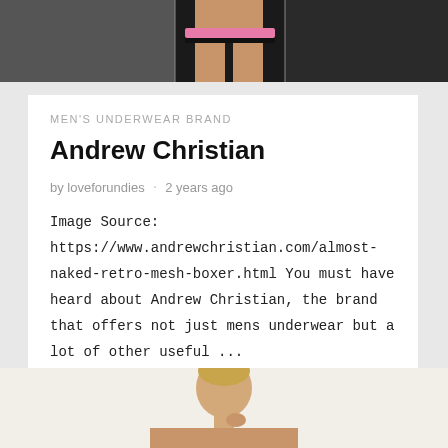[Figure (photo): Top portion of a model wearing black and pink underwear, cropped at waist, dark background]
MEN'S UNDERWEAR BRAND
Andrew Christian
by loveforundies · 2 years ago
Image Source: https://www.andrewchristian.com/almost-naked-retro-mesh-boxer.html You must have heard about Andrew Christian, the brand that offers not just mens underwear but a lot of other useful ...
[Figure (photo): Bottom portion showing a young blond male model, shirtless, touching his neck, light background]